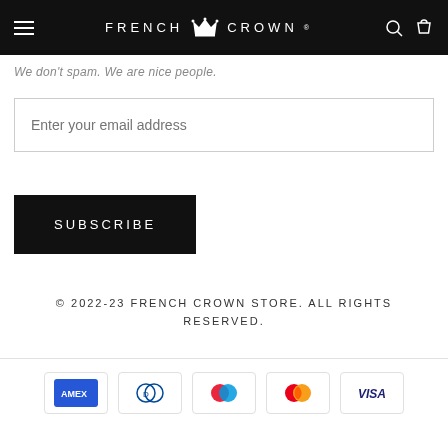[Figure (logo): French Crown navigation bar with hamburger menu, crown logo, search and cart icons on black background]
We don't spam. We are nice people.
Enter your email address
SUBSCRIBE
© 2022-23 FRENCH CROWN STORE. ALL RIGHTS RESERVED.
[Figure (other): Payment method icons: American Express, Diners Club, Mastercard (blue/red), Mastercard, Visa]